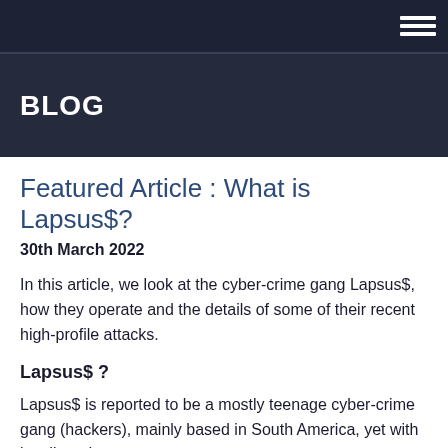BLOG
Featured Article : What is Lapsus$?
30th March 2022
In this article, we look at the cyber-crime gang Lapsus$, how they operate and the details of some of their recent high-profile attacks.
Lapsus$ ?
Lapsus$ is reported to be a mostly teenage cyber-crime gang (hackers), mainly based in South America, yet with its alleged